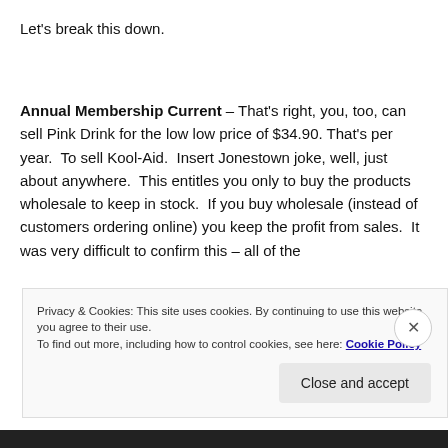Let's break this down.
Annual Membership Current – That's right, you, too, can sell Pink Drink for the low low price of $34.90. That's per year. To sell Kool-Aid. Insert Jonestown joke, well, just about anywhere. This entitles you only to buy the products wholesale to keep in stock. If you buy wholesale (instead of customers ordering online) you keep the profit from sales. It was very difficult to confirm this–all of the
Privacy & Cookies: This site uses cookies. By continuing to use this website, you agree to their use.
To find out more, including how to control cookies, see here: Cookie Policy
Close and accept